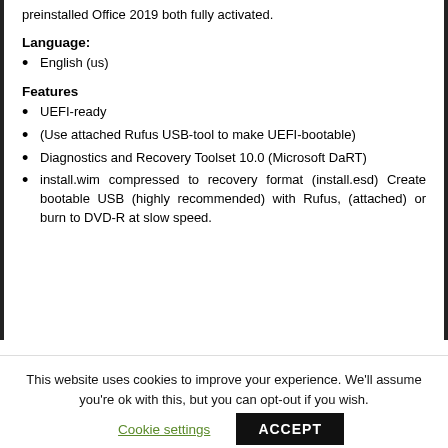preinstalled Office 2019 both fully activated.
Language:
English (us)
Features
UEFI-ready
(Use attached Rufus USB-tool to make UEFI-bootable)
Diagnostics and Recovery Toolset 10.0 (Microsoft DaRT)
install.wim compressed to recovery format (install.esd) Create bootable USB (highly recommended) with Rufus, (attached) or burn to DVD-R at slow speed.
This website uses cookies to improve your experience. We'll assume you're ok with this, but you can opt-out if you wish.
Cookie settings   ACCEPT